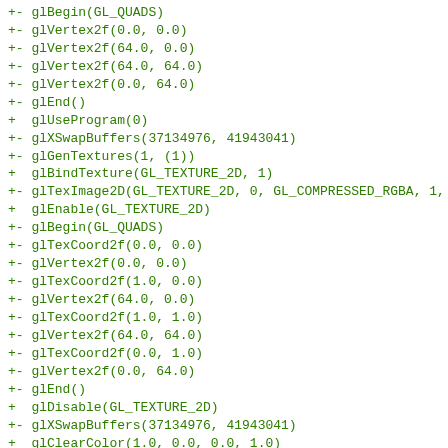+- glBegin(GL_QUADS)
+- glVertex2f(0.0, 0.0)
+- glVertex2f(64.0, 0.0)
+- glVertex2f(64.0, 64.0)
+- glVertex2f(0.0, 64.0)
+- glEnd()
+  glUseProgram(0)
+- glXSwapBuffers(37134976, 41943041)
+- glGenTextures(1, (1))
+  glBindTexture(GL_TEXTURE_2D, 1)
+- glTexImage2D(GL_TEXTURE_2D, 0, GL_COMPRESSED_RGBA, 1, 1,
+  glEnable(GL_TEXTURE_2D)
+- glBegin(GL_QUADS)
+- glTexCoord2f(0.0, 0.0)
+- glVertex2f(0.0, 0.0)
+- glTexCoord2f(1.0, 0.0)
+- glVertex2f(64.0, 0.0)
+- glTexCoord2f(1.0, 1.0)
+- glVertex2f(64.0, 64.0)
+- glTexCoord2f(0.0, 1.0)
+- glVertex2f(0.0, 64.0)
+- glEnd()
+  glDisable(GL_TEXTURE_2D)
+- glXSwapBuffers(37134976, 41943041)
+  glClearColor(1.0, 0.0, 0.0, 1.0)
+- glClear((GL_COLOR_BUFFER_BIT))
+- glXSwapBuffers(37134976, 41943041)
+- glCreateShader(GL_VERTEX_SHADER) = 10
+- glShaderSource(10, 1, ('void main()\n{\n    gl_Positi
+- glCompileShader(10)
+- glCreateShader(GL_FRAGMENT_SHADER) = 11
+- glShaderSource(11, 1, ('#version 120\nuniform vec4 color: